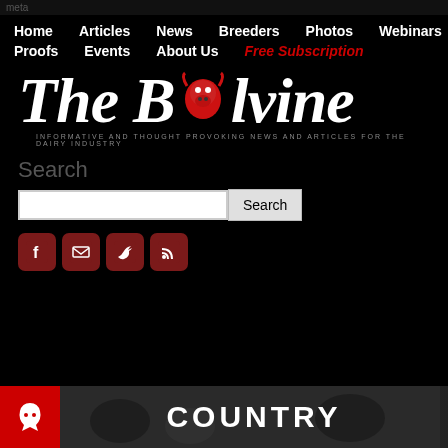meta
Home   Articles   News   Breeders   Photos   Webinars
Proofs   Events   About Us   Free Subscription
[Figure (logo): The Bullvine logo with script text and red bull head icon. Tagline: INFORMATIVE AND THOUGHT PROVOKING NEWS AND ARTICLES FOR THE DAIRY INDUSTRY]
Search
[Figure (screenshot): Search input field with Search button]
[Figure (infographic): Social media icons: Facebook, Email, Twitter, RSS feed]
[Figure (photo): Bottom banner showing cows in background with COUNTRY text and red logo box]